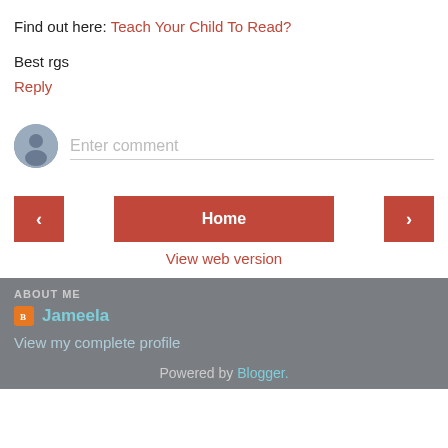Find out here: Teach Your Child To Read?
Best rgs
Reply
Enter comment
Home
View web version
ABOUT ME
Jameela
View my complete profile
Powered by Blogger.